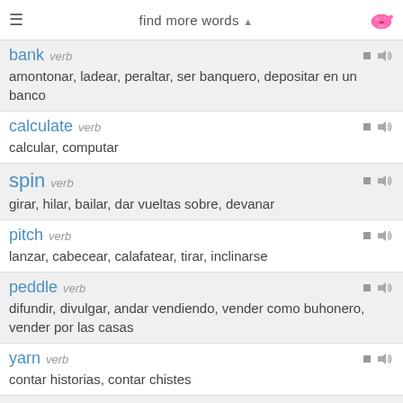find more words
bank verb — amontonar, ladear, peraltar, ser banquero, depositar en un banco
calculate verb — calcular, computar
spin verb — girar, hilar, bailar, dar vueltas sobre, devanar
pitch verb — lanzar, cabecear, calafatear, tirar, inclinarse
peddle verb — difundir, divulgar, andar vendiendo, vender como buhonero, vender por las casas
yarn verb — contar historias, contar chistes
check verb